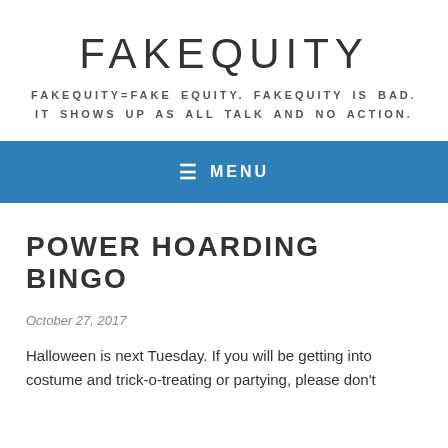FAKEQUITY
FAKEQUITY=FAKE EQUITY. FAKEQUITY IS BAD. IT SHOWS UP AS ALL TALK AND NO ACTION.
≡ MENU
POWER HOARDING BINGO
October 27, 2017
Halloween is next Tuesday. If you will be getting into costume and trick-o-treating or partying, please don't